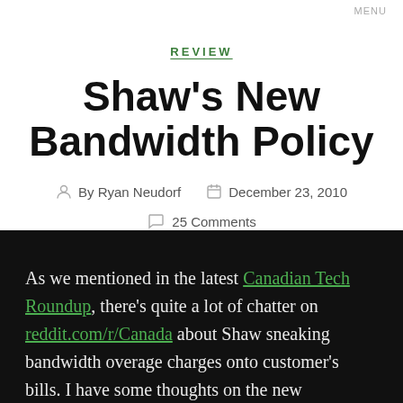MENU
REVIEW
Shaw's New Bandwidth Policy
By Ryan Neudorf   December 23, 2010   25 Comments
As we mentioned in the latest Canadian Tech Roundup, there's quite a lot of chatter on reddit.com/r/Canada about Shaw sneaking bandwidth overage charges onto customer's bills. I have some thoughts on the new